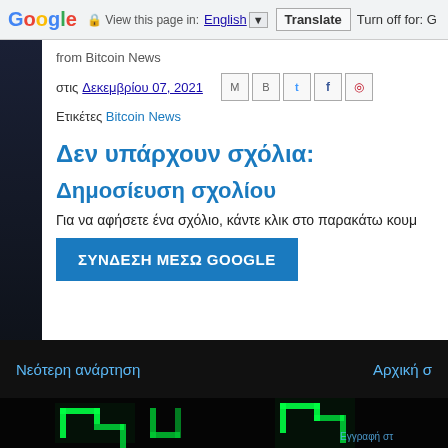Google  View this page in: English  Translate  Turn off for: G
from Bitcoin News
στις Δεκεμβρίου 07, 2021
Eτικέτες Bitcoin News
Δεν υπάρχουν σχόλια:
Δημοσίευση σχολίου
Για να αφήσετε ένα σχόλιο, κάντε κλικ στο παρακάτω κουμ
ΣΥΝΔΕΣΗ ΜΕΣΩ GOOGLE
Νεότερη ανάρτηση    Αρχική σ
[Figure (photo): Glowing green circuit board pattern at the bottom of the page]